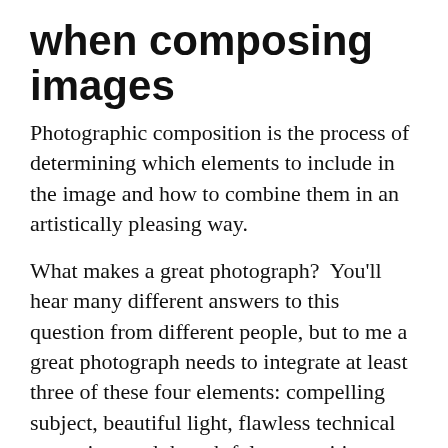when composing images
Photographic composition is the process of determining which elements to include in the image and how to combine them in an artistically pleasing way.
What makes a great photograph?  You'll hear many different answers to this question from different people, but to me a great photograph needs to integrate at least three of these four elements: compelling subject, beautiful light, flawless technical execution, and thoughtful composition.  Assuming we can find a great subject and either find or manufacture lovely lighting, the technology in modern cameras